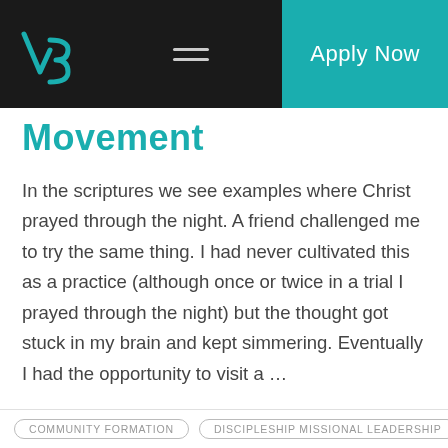V3 Movement — Apply Now
Movement
In the scriptures we see examples where Christ prayed through the night. A friend challenged me to try the same thing. I had never cultivated this as a practice (although once or twice in a trial I prayed through the night) but the thought got stuck in my brain and kept simmering. Eventually I had the opportunity to visit a …
Read More
COMMUNITY FORMATION    DISCIPLESHIP MISSIONAL LEADERSHIP